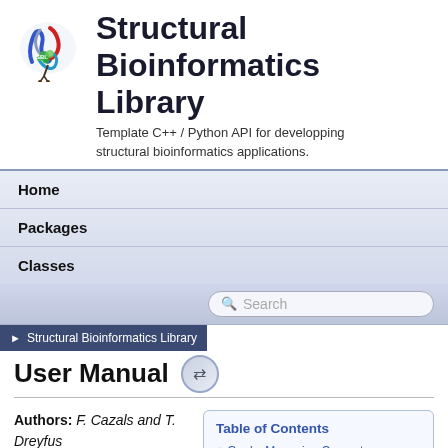[Figure (logo): Structural Bioinformatics Library molecular structure logo with colorful protein ribbon and small molecules]
Structural Bioinformatics Library
Template C++ / Python API for developping structural bioinformatics applications.
Home
Packages
Classes
Structural Bioinformatics Library
User Manual
Authors: F. Cazals and T. Dreyfus
Table of Contents
Goals: Managing Computer Experiments
Overall Goals
Using the Batch Manager